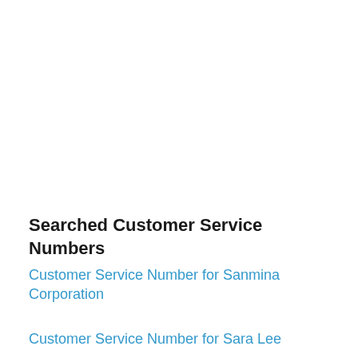Searched Customer Service Numbers
Customer Service Number for Sanmina Corporation
Customer Service Number for Sara Lee